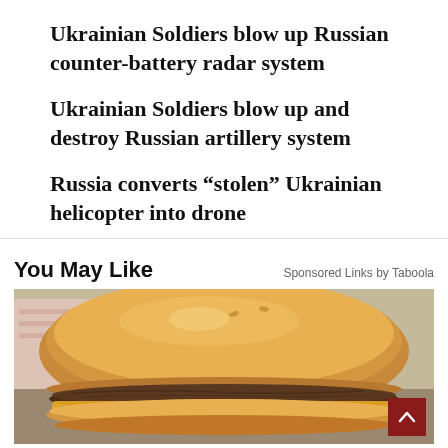Ukrainian Soldiers blow up Russian counter-battery radar system
Ukrainian Soldiers blow up and destroy Russian artillery system
Russia converts “stolen” Ukrainian helicopter into drone
You May Like
Sponsored Links by Taboola
[Figure (photo): Photo of a hamburger/cheeseburger on a bun with meat patty and cheese, placed on paper wrapping]